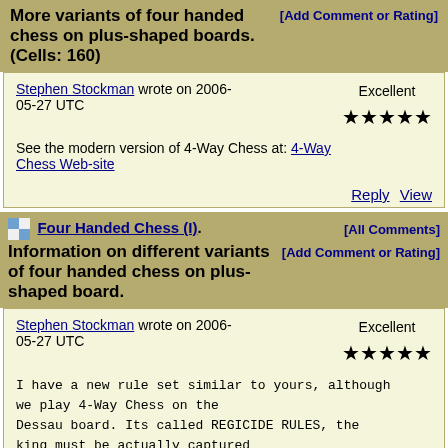More variants of four handed chess on plus-shaped boards. (Cells: 160)
Stephen Stockman wrote on 2006-05-27 UTC  Excellent ★★★★★
See the modern version of 4-Way Chess at: 4-Way Chess Web-site
Reply View
Four Handed Chess (I). Information on different variants of four handed chess on plus-shaped board.
[All Comments] [Add Comment or Rating]
Stephen Stockman wrote on 2006-05-27 UTC  Excellent ★★★★★
I have a new rule set similar to yours, although we play 4-Way Chess on the Dessau board. Its called REGICIDE RULES, the king must be actually captured rather than just check-mated. Even when check-